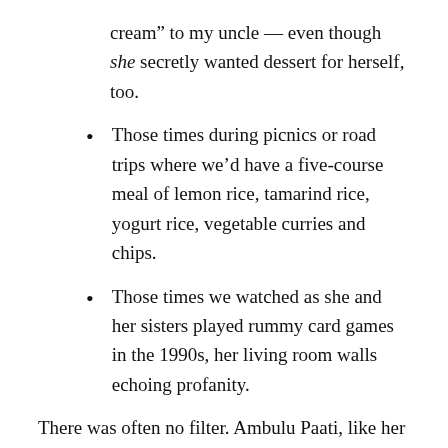cream” to my uncle — even though she secretly wanted dessert for herself, too.
Those times during picnics or road trips where we’d have a five-course meal of lemon rice, tamarind rice, yogurt rice, vegetable curries and chips.
Those times we watched as she and her sisters played rummy card games in the 1990s, her living room walls echoing profanity.
There was often no filter. Ambulu Paati, like her sisters, spoke her mind. She crisscrossed the world alone dozens of times, spending time playing and enjoying meals with my brother, cousins and I. She was a mom to her sons-in-law. She was a godmother to many of my mom’s friends — a familiar face in the Colorado Indian